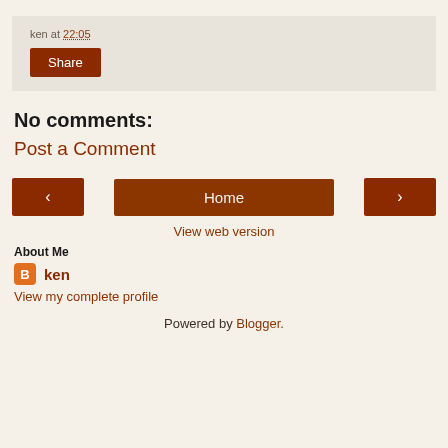ken at 22:05
Share
No comments:
Post a Comment
< Home >
View web version
About Me
ken
View my complete profile
Powered by Blogger.